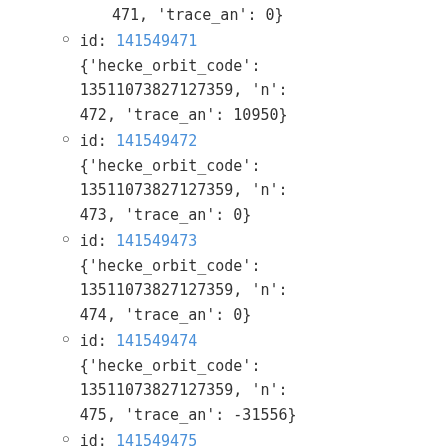471, 'trace_an': 0}
id: 141549471 {'hecke_orbit_code': 13511073827127359, 'n': 472, 'trace_an': 10950}
id: 141549472 {'hecke_orbit_code': 13511073827127359, 'n': 473, 'trace_an': 0}
id: 141549473 {'hecke_orbit_code': 13511073827127359, 'n': 474, 'trace_an': 0}
id: 141549474 {'hecke_orbit_code': 13511073827127359, 'n': 475, 'trace_an': -31556}
id: 141549475 {'hecke_orbit_code': 13511073827127359, 'n':